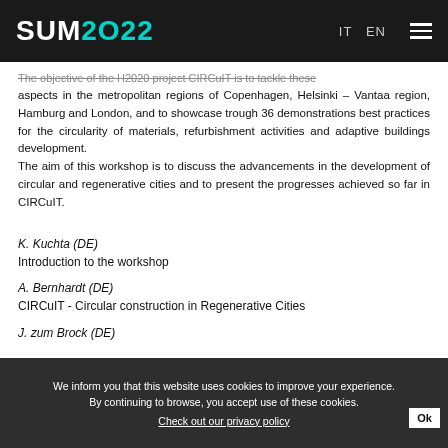SUM2022 | IT EN
The objective of the H2020 project CIRCuIT is to tackle these aspects in the metropolitan regions of Copenhagen, Helsinki – Vantaa region, Hamburg and London, and to showcase trough 36 demonstrations best practices for the circularity of materials, refurbishment activities and adaptive buildings development. The aim of this workshop is to discuss the advancements in the development of circular and regenerative cities and to present the progresses achieved so far in CIRCuIT.
K. Kuchta (DE)
Introduction to the workshop
A. Bernhardt (DE)
CIRCuIT - Circular construction in Regenerative Cities
J. zum Brock (DE)
CIRCuIT - Circular construction in Regenerative Cities in Hamburg
M. Abio (DE)
We inform you that this website uses cookies to improve your experience. By continuing to browse, you accept use of these cookies. Check out our privacy policy